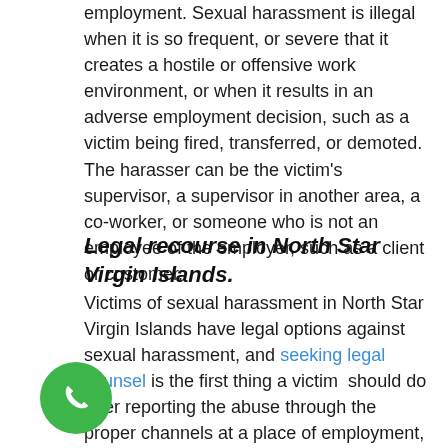employment. Sexual harassment is illegal when it is so frequent, or severe that it creates a hostile or offensive work environment, or when it results in an adverse employment decision, such as a victim being fired, transferred, or demoted.  The harasser can be the victim's supervisor, a supervisor in another area, a co-worker, or someone who is not an employee of the employer, such as a client or customer.
Legal recourse in North Star Virgin Islands.
Victims of sexual harassment in North Star Virgin Islands have legal options against sexual harassment, and seeking legal counsel is the first thing a victim should do after reporting the abuse through the proper channels at a place of employment, or at school, or wherever the incident took place; if there are procedural guidelines set that must be followed.
[Figure (illustration): Green circular phone button icon in bottom-left area of the page]